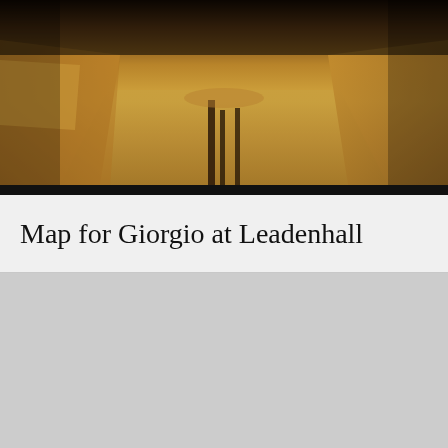[Figure (photo): Interior of Giorgio at Leadenhall restaurant showing tables with golden/tan tablecloths and chairs, warm amber lighting, viewed from above/front angle]
Map for Giorgio at Leadenhall
[Figure (map): Map placeholder area showing location of Giorgio at Leadenhall restaurant (grey/empty map area)]